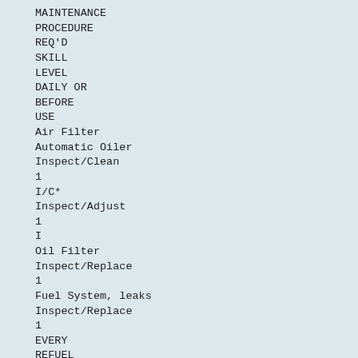| MAINTENANCE PROCEDURE | REQ'D SKILL LEVEL | DAILY OR BEFORE USE |  | EVERY REFUEL | 3 MONTHS OR 90 HOURS | YEARLY |
| --- | --- | --- | --- | --- | --- | --- |
| Air Filter | Automatic Oiler | Inspect/Clean | 1 | I/C* |  |  |  |
|  |  | Inspect/Adjust | 1 | I |  |  |  |
| Oil Filter |  | Inspect/Replace | 1 |  |  |  |  |
| Fuel System, leaks |  | Inspect/Replace | 1 |  |  | R* | I/C* |
|  |  |  |  |  |  | I (1) * | I (1) * |
| Fuel Filter |  |  |  |  |  |  |  |